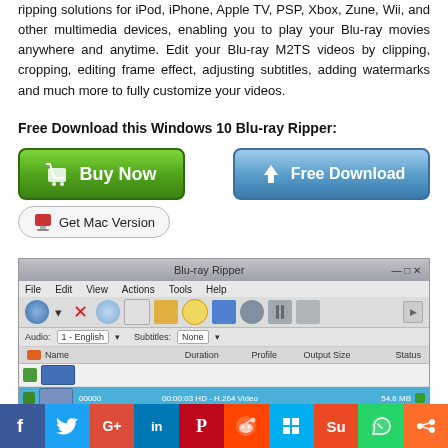ripping solutions for iPod, iPhone, Apple TV, PSP, Xbox, Zune, Wii, and other multimedia devices, enabling you to play your Blu-ray movies anywhere and anytime. Edit your Blu-ray M2TS videos by clipping, cropping, editing frame effect, adjusting subtitles, adding watermarks and much more to fully customize your videos.
Free Download this Windows 10 Blu-ray Ripper:
[Figure (screenshot): Buy Now and Free Download buttons, and Get Mac Version button]
[Figure (screenshot): Blu-ray Ripper application screenshot showing the main interface with file list, audio/subtitle settings, and profile panel]
[Figure (infographic): Social media sharing bar with Facebook, Twitter, Google+, LinkedIn, Pinterest, Reddit, Windows, StumbleUpon, WhatsApp, and Share icons]